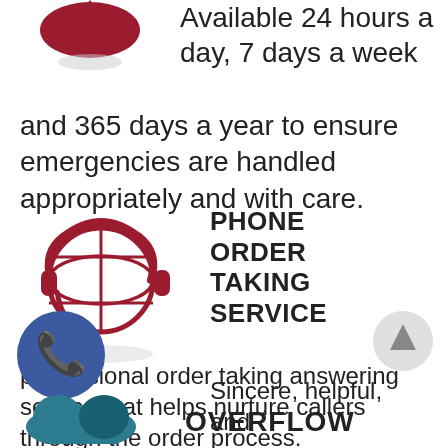[Figure (illustration): Red heart/location pin icon at top left]
Available 24 hours a day, 7 days a week and 365 days a year to ensure emergencies are handled appropriately and with care.
[Figure (illustration): Red headset with globe icon representing phone order taking service]
PHONE ORDER TAKING SERVICE
Sincere, helpful, and professional order taking answering service that helps nurture callers through the order process.
[Figure (illustration): Blue circle phone icon at bottom left]
[Figure (illustration): Up arrow navigation button at bottom right]
[Figure (illustration): Teal/blue icon at very bottom left for OVERFLOW section]
OVERFLOW